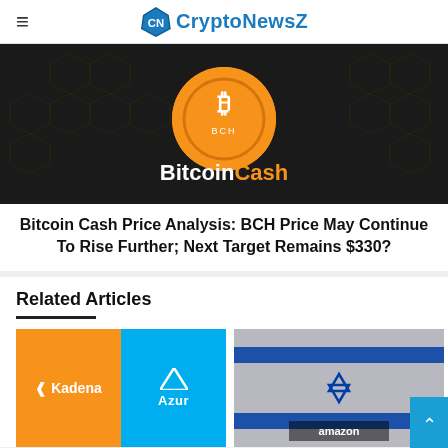CryptoNewsZ
[Figure (photo): Bitcoin Cash logo on dark hexagon background — orange circle with BCH symbol, text 'BitcoinCash' in white and orange]
Bitcoin Cash Price Analysis: BCH Price May Continue To Rise Further; Next Target Remains $330?
Related Articles
[Figure (photo): Kadena and Microsoft Azure logos side by side on orange and blue backgrounds]
[Figure (photo): Israel flag with Amazon logo overlay]